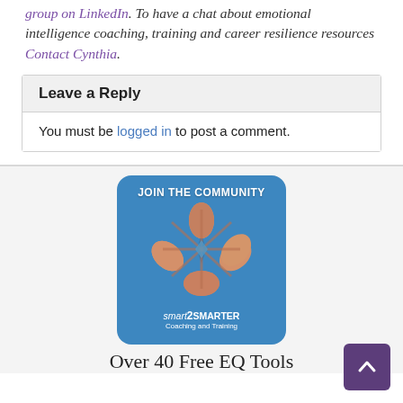group on LinkedIn. To have a chat about emotional intelligence coaching, training and career resilience resources Contact Cynthia.
Leave a Reply
You must be logged in to post a comment.
[Figure (illustration): A square image with rounded corners on a blue background. Text at the top reads 'JOIN THE COMMUNITY' in bold white. Multiple hands arranged in a circle pointing inward in the center. At the bottom: 'smart2SMARTER' in italic white with 'Coaching and Training' below.]
Over 40 Free EQ Tools